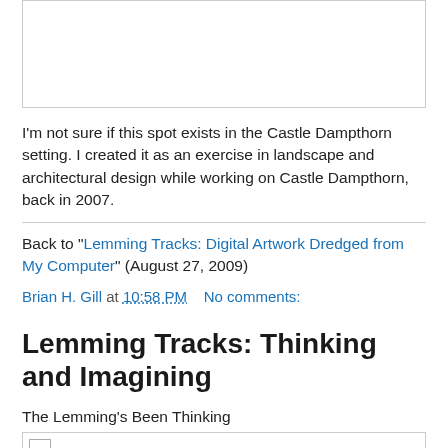[Figure (photo): Image placeholder box at top of page]
I'm not sure if this spot exists in the Castle Dampthorn setting. I created it as an exercise in landscape and architectural design while working on Castle Dampthorn, back in 2007.
Back to "Lemming Tracks: Digital Artwork Dredged from My Computer" (August 27, 2009)
Brian H. Gill at 10:58 PM   No comments:
Lemming Tracks: Thinking and Imagining
The Lemming's Been Thinking
[Figure (photo): Image placeholder box at bottom of page]